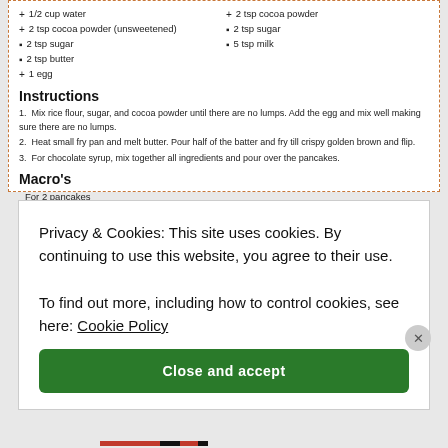1/2 cup water
2 tsp cocoa powder (unsweetened)
2 tsp sugar
2 tsp butter
1 egg
2 tsp cocoa powder
2 tsp sugar
5 tsp milk
Instructions
1.  Mix rice flour, sugar, and cocoa powder until there are no lumps. Add the egg and mix well making sure there are no lumps.
2.  Heat small fry pan and melt butter. Pour half of the batter and fry till crispy golden brown and flip.
3.  For chocolate syrup, mix together all ingredients and pour over the pancakes.
Macro's
For 2 pancakes
protein : 8 grams  |  carbs : 39g |  fat* : 14g
* fat content will vary depending on the butter / oil you use
marinafarook.com
Privacy & Cookies: This site uses cookies. By continuing to use this website, you agree to their use. To find out more, including how to control cookies, see here: Cookie Policy
Close and accept